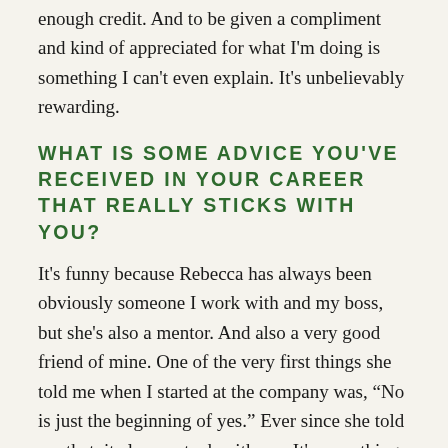enough credit. And to be given a compliment and kind of appreciated for what I'm doing is something I can't even explain. It's unbelievably rewarding.
WHAT IS SOME ADVICE YOU'VE RECEIVED IN YOUR CAREER THAT REALLY STICKS WITH YOU?
It's funny because Rebecca has always been obviously someone I work with and my boss, but she's also a mentor. And also a very good friend of mine. One of the very first things she told me when I started at the company was, “No is just the beginning of yes.” Ever since she told me that, it always stuck with me. It's something I always think about. It reminds me that there's no reason to stop. Criticism or negative feedback, people can take that so personally and they can take the word “no” so